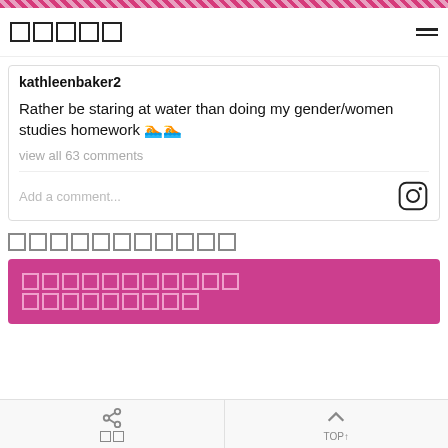□□□□□
kathleenbaker2
Rather be staring at water than doing my gender/women studies homework 🏊‍♀️
view all 63 comments
Add a comment...
□□□□□□□□□□□
[Figure (other): Pink/magenta banner with white square placeholder text blocks]
シェア | TOP↑